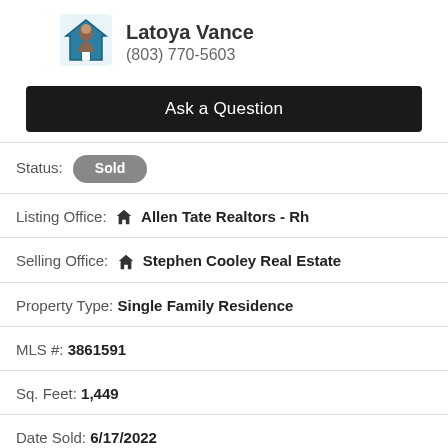[Figure (photo): Agent profile photo of Latoya Vance with house logo icon]
Latoya Vance
(803) 770-5603
Ask a Question
Status: Sold
Listing Office: Allen Tate Realtors - Rh
Selling Office: Stephen Cooley Real Estate
Property Type: Single Family Residence
MLS #: 3861591
Sq. Feet: 1,449
Date Sold: 6/17/2022